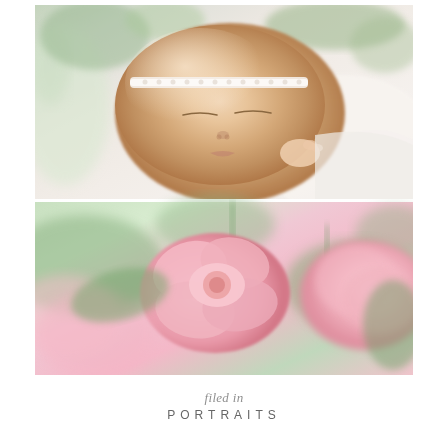[Figure (photo): Two stacked photographs: top photo shows a sleeping newborn baby with a white lace headband, wrapped in white fabric, with soft green foliage in background; bottom photo shows soft-focus pink flowers (tulips or similar) with green leaves on a light background.]
filed in
PORTRAITS